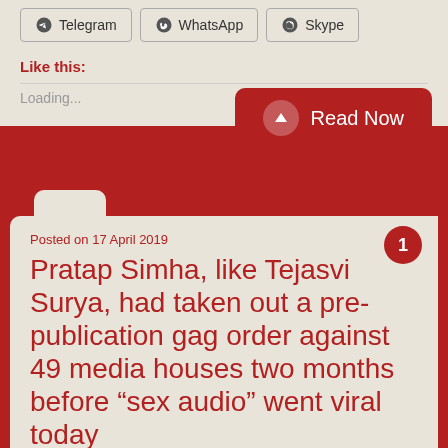Telegram
WhatsApp
Skype
Like this:
Loading...
Read Now
Posted on 17 April 2019
Pratap Simha, like Tejasvi Surya, had taken out a pre-publication gag order against 49 media houses two months before “sex audio” went viral today